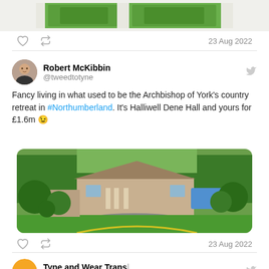[Figure (photo): Cropped aerial or garden image at top of page, showing green manicured grounds]
23 Aug 2022
[Figure (photo): Profile photo of Robert McKibbin, a man in dark jacket]
Robert McKibbin @tweedtotyne
Fancy living in what used to be the Archbishop of York's country retreat in #Northumberland. It's Halliwell Dene Hall and yours for £1.6m 😉
[Figure (photo): Aerial drone photo of Halliwell Dene Hall, a large stone country house surrounded by mature trees and gardens with a swimming pool visible]
23 Aug 2022
[Figure (logo): Tyne and Wear Flashback orange circular logo]
Tyne and Wear Trans... @TyneFlashback